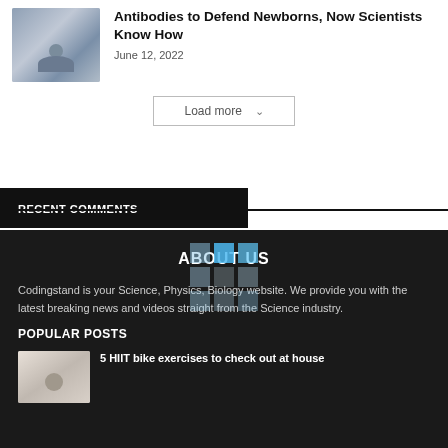[Figure (photo): Thumbnail photo of a person in a blue denim jacket with hands clasped]
Antibodies to Defend Newborns, Now Scientists Know How
June 12, 2022
[Figure (other): Load more button with loading spinner overlay]
RECENT COMMENTS
ABOUT US
Codingstand is your Science, Physics, Biology website. We provide you with the latest breaking news and videos straight from the Science industry.
POPULAR POSTS
[Figure (photo): Thumbnail photo of a person holding dumbbells]
5 HIIT bike exercises to check out at house